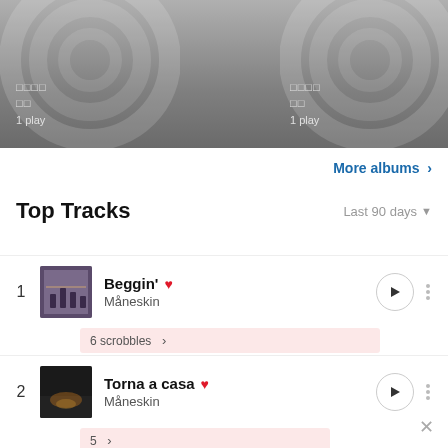[Figure (screenshot): Music streaming app banner with two album disc placeholder graphics and text showing '□□□□ □□ 1 play' twice]
More albums >
Top Tracks
Last 90 days
1 Beggin' ♥ Måneskin — 6 scrobbles
2 Torna a casa ♥ Måneskin — 5